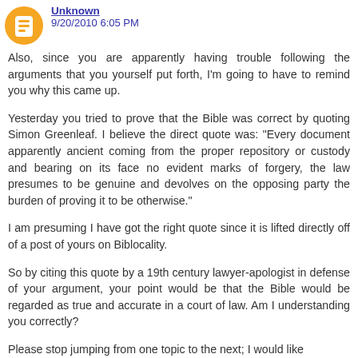Unknown 9/20/2010 6:05 PM
Also, since you are apparently having trouble following the arguments that you yourself put forth, I'm going to have to remind you why this came up.
Yesterday you tried to prove that the Bible was correct by quoting Simon Greenleaf. I believe the direct quote was: "Every document apparently ancient coming from the proper repository or custody and bearing on its face no evident marks of forgery, the law presumes to be genuine and devolves on the opposing party the burden of proving it to be otherwise."
I am presuming I have got the right quote since it is lifted directly off of a post of yours on Biblocality.
So by citing this quote by a 19th century lawyer-apologist in defense of your argument, your point would be that the Bible would be regarded as true and accurate in a court of law. Am I understanding you correctly?
Please stop jumping from one topic to the next; I would like